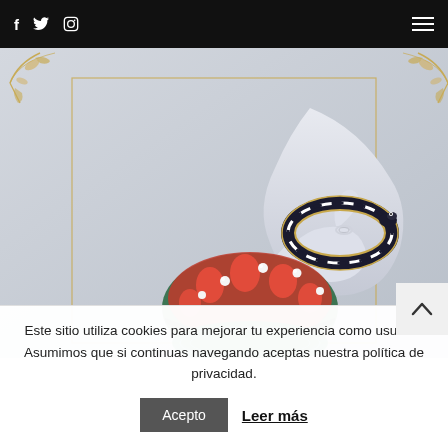f  Twitter  Instagram  [menu]
[Figure (photo): Luxury jewelry display: a white mannequin hand holding an ornate striped bangle bracelet, with an elaborate coral and pearl encrusted snake bracelet below, set against a light grey background with gold decorative corner embellishments and a gold rectangular frame outline.]
Este sitio utiliza cookies para mejorar tu experiencia como usuario. Asumimos que si continuas navegando aceptas nuestra política de privacidad.
Acepto
Leer más